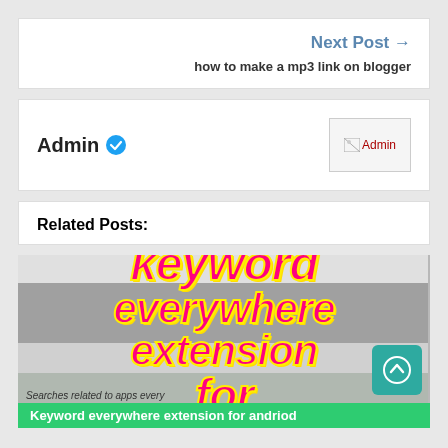Next Post →
how to make a mp3 link on blogger
Admin ✔
[Figure (other): Admin image placeholder (broken image icon with 'Admin' alt text)]
Related Posts:
[Figure (screenshot): Keyword everywhere extension for android - screenshot with large pink/magenta italic text overlay reading 'keyword everywhere extension for' on a browser screenshot background. Teal scroll-up button at bottom right.]
Searches related to apps every
Keyword everywhere extension for andriod